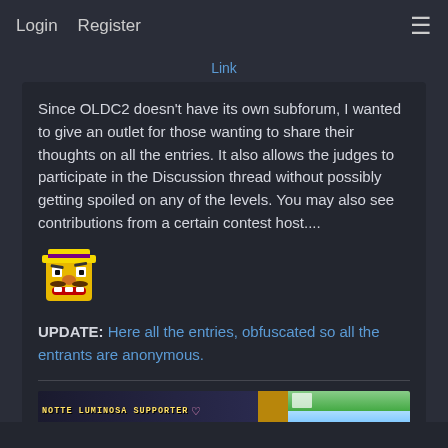Login   Register   ≡
Link
Since OLDC2 doesn't have its own subforum, I wanted to give an outlet for those wanting to share their thoughts on all the entries. It also allows the judges to participate in the Discussion thread without possibly getting spoiled on any of the levels. You may also see contributions from a certain contest host....
[Figure (illustration): Wario pixel art emoji/emoticon icon]
UPDATE: Here all the entries, obfuscated so all the entrants are anonymous.
[Figure (screenshot): Banner image strip showing game level thumbnails including 'NOTTE LUMINOSA SUPPORTER' banner and other level previews]
Last edited on 2021-12-30 09:25:23 PM by Tahixham